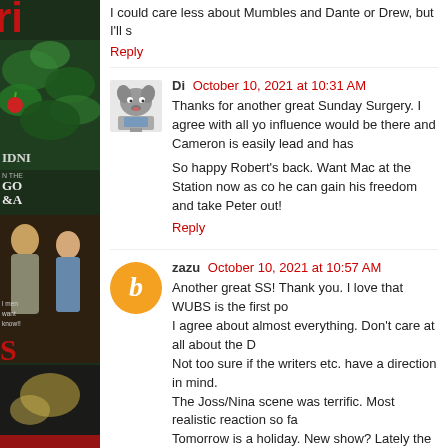[Figure (photo): Left sidebar with partial magazine cover, dark green background with magazine title and cover images visible]
I could care less about Mumbles and Dante or Drew, but I'll s
Reply
Di  October 10, 2021 at 10:31 AM
Thanks for another great Sunday Surgery. I agree with all yo influence would be there and Cameron is easily lead and has
So happy Robert's back. Want Mac at the Station now as co he can gain his freedom and take Peter out!
Reply
zazu  October 10, 2021 at 10:57 AM
Another great SS! Thank you. I love that WUBS is the first po I agree about almost everything. Don't care at all about the D Not too sure if the writers etc. have a direction in mind. The Joss/Nina scene was terrific. Most realistic reaction so fa Tomorrow is a holiday. New show? Lately the Friday shows a Enjoy the nice autumn Sunday here in the Northeast. Summ
Reply
lindie  October 10, 2021 at 1:13 PM